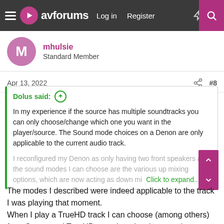avforums — Log in | Register
mhulsie
Standard Member
Apr 13, 2022  #8
Dolus said: ↑

In my experience if the source has multiple soundtracks you can only choose/change which one you want in the player/source. The Sound mode choices on a Denon are only applicable to the current audio track.

I reconfigured my Denon as only having two front speakers and the sound modes I can choose are the various up mixing options, which are now acting as down mi...
Click to expand...
The modes I described were indeed applicable to the track I was playing that moment.
When I play a TrueHD track I can choose (among others) from Stereo and TrueHD sound modes. I was curious wether there was a difference in processing between these two modes.